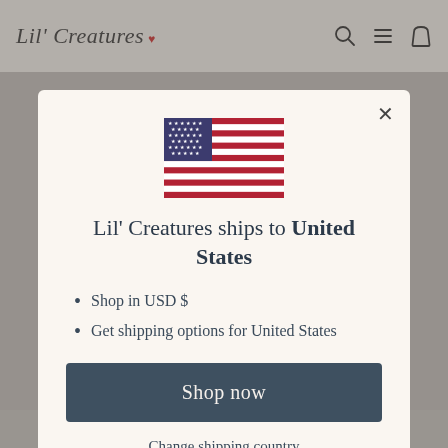[Figure (screenshot): Lil' Creatures e-commerce website header with logo, search, menu, and cart icons]
[Figure (screenshot): Modal dialog popup on the Lil' Creatures website showing US flag and shipping information]
Lil' Creatures ships to United States
Shop in USD $
Get shipping options for United States
Shop now
Change shipping country
LOVELY BUNNY GIFT   ULTIMATE BABY   GORGEOI...